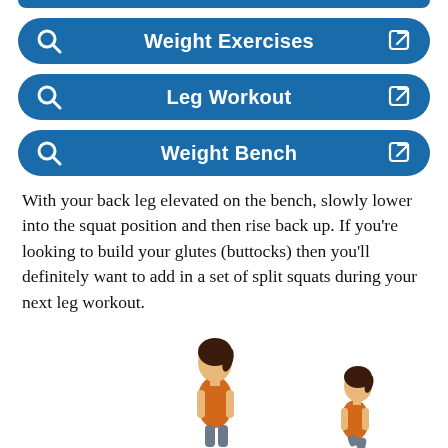[Figure (screenshot): Partial blue rounded search bar at top of page (cropped), for a fitness app UI]
[Figure (screenshot): Blue rounded search bar with search icon, text 'Weight Exercises', and external link icon]
[Figure (screenshot): Blue rounded search bar with search icon, text 'Leg Workout', and external link icon]
[Figure (screenshot): Blue rounded search bar with search icon, text 'Weight Bench', and external link icon]
With your back leg elevated on the bench, slowly lower into the squat position and then rise back up. If you're looking to build your glutes (buttocks) then you'll definitely want to add in a set of split squats during your next leg workout.
[Figure (illustration): Two illustrated female figures showing exercise positions — one standing upright (left) and one in a lower position (right), partially cropped at bottom of page]